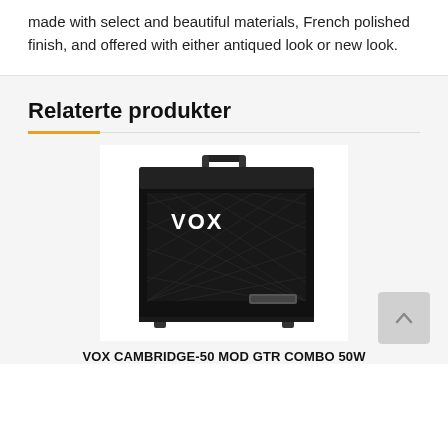made with select and beautiful materials, French polished finish, and offered with either antiqued look or new look.
Relaterte produkter
[Figure (photo): A black VOX Cambridge-50 guitar combo amplifier with handle on top, diamond grille pattern, VOX logo, and small control panel at bottom right.]
VOX CAMBRIDGE-50 MOD GTR COMBO 50W